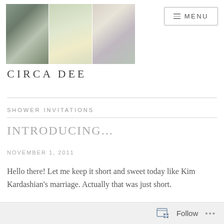[Figure (photo): Blog header photo collage showing three panels: flowers/plants on grey wood, green plant in white pot, and purple flowers near white trim]
CIRCA DEE
SHOWER INVITATIONS
INTRODUCING...
NOVEMBER 1, 2011
Hello there!  Let me keep it short and sweet today like Kim Kardashian's marriage.  Actually that was just short.
This is sweet
Follow ...